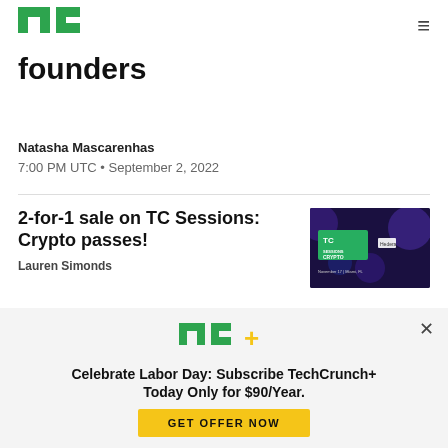TechCrunch [logo] | ≡
founders
Natasha Mascarenhas
7:00 PM UTC • September 2, 2022
2-for-1 sale on TC Sessions: Crypto passes!
Lauren Simonds
[Figure (screenshot): TC Sessions Crypto event thumbnail with purple background and TC logo]
Celebrate Labor Day: Subscribe TechCrunch+ Today Only for $90/Year.
GET OFFER NOW